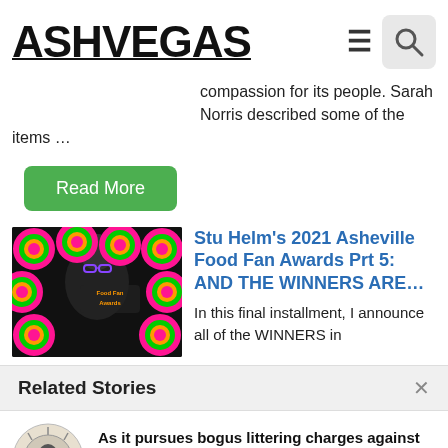ASHVEGAS
compassion for its people. Sarah Norris described some of the items …
Read More
[Figure (photo): Colorful circular Food Fan Awards badges with a person in the background]
Stu Helm's 2021 Asheville Food Fan Awards Prt 5: AND THE WINNERS ARE…
In this final installment, I announce all of the WINNERS in
Related Stories
[Figure (logo): Ashvegas logo circular badge]
As it pursues bogus littering charges against citizens, Asheville trashes ideal of compassionate city